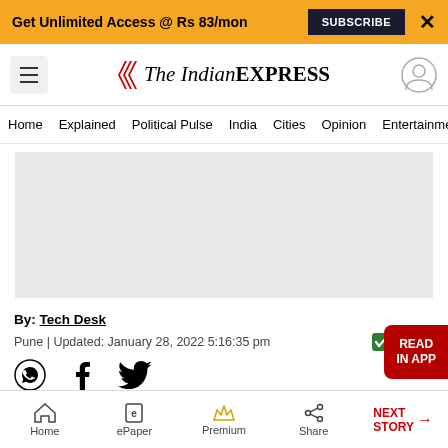Get Unlimited Access @ Rs 83/mon  SUBSCRIBE  X
The Indian EXPRESS
Home  Explained  Political Pulse  India  Cities  Opinion  Entertainment
[Figure (other): Gray advertisement placeholder rectangle]
By: Tech Desk
Pune | Updated: January 28, 2022 5:16:35 pm
[Figure (other): NewsGuard verified badge with shield checkmark icon]
[Figure (other): Red 'READ IN APP' button overlay]
[Figure (other): Social sharing icons: WhatsApp, Facebook, Twitter]
[Figure (photo): Article photo showing a framed screen/device on a wooden surface with orange gradient circular element]
Home  ePaper  Premium  Share  NEXT STORY →